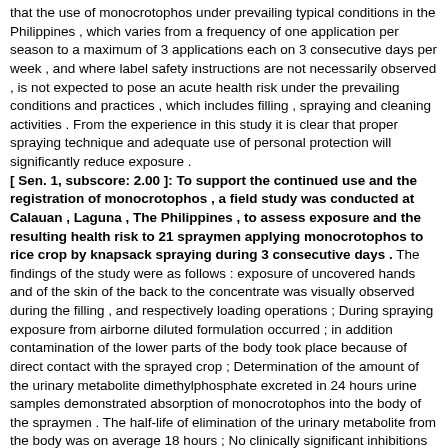that the use of monocrotophos under prevailing typical conditions in the Philippines , which varies from a frequency of one application per season to a maximum of 3 applications each on 3 consecutive days per week , and where label safety instructions are not necessarily observed , is not expected to pose an acute health risk under the prevailing conditions and practices , which includes filling , spraying and cleaning activities . From the experience in this study it is clear that proper spraying technique and adequate use of personal protection will significantly reduce exposure . [ Sen. 1, subscore: 2.00 ]: To support the continued use and the registration of monocrotophos , a field study was conducted at Calauan , Laguna , The Philippines , to assess exposure and the resulting health risk to 21 spraymen applying monocrotophos to rice crop by knapsack spraying during 3 consecutive days . The findings of the study were as follows : exposure of uncovered hands and of the skin of the back to the concentrate was visually observed during the filling , and respectively loading operations ; During spraying exposure from airborne diluted formulation occurred ; in addition contamination of the lower parts of the body took place because of direct contact with the sprayed crop ; Determination of the amount of the urinary metabolite dimethylphosphate excreted in 24 hours urine samples demonstrated absorption of monocrotophos into the body of the spraymen . The half-life of elimination of the urinary metabolite from the body was on average 18 hours ; No clinically significant inhibitions of whole blood or red blood cell cholinesterase activities were found , ie , 30% below baseline values . However , 8 of 21 spraymen had plasma cholinesterase levels below 50% of baseline values ; --No acute adverse health effects associated with the application of monocrotophos were observed , which was in accordance with the absence of clinically significant cholinesterase depressions . The conclusion of the study was